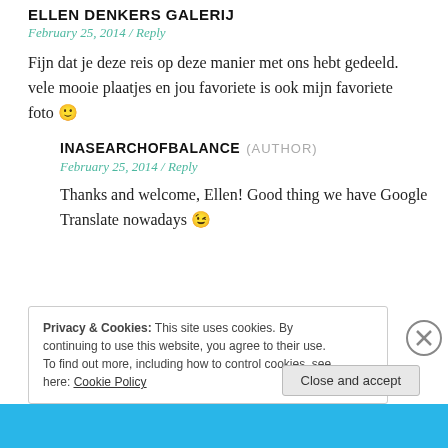ELLEN DENKERS GALERIJ
February 25, 2014 / Reply
Fijn dat je deze reis op deze manier met ons hebt gedeeld. vele mooie plaatjes en jou favoriete is ook mijn favoriete foto 🙂
INASEARCHOFBALANCE (AUTHOR)
February 25, 2014 / Reply
Thanks and welcome, Ellen! Good thing we have Google Translate nowadays 😉
Privacy & Cookies: This site uses cookies. By continuing to use this website, you agree to their use.
To find out more, including how to control cookies, see here: Cookie Policy
Close and accept